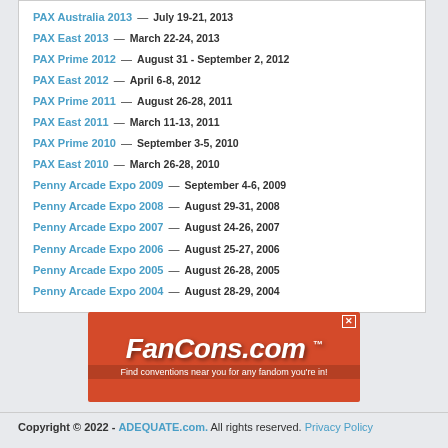PAX Australia 2013 — July 19-21, 2013
PAX East 2013 — March 22-24, 2013
PAX Prime 2012 — August 31 - September 2, 2012
PAX East 2012 — April 6-8, 2012
PAX Prime 2011 — August 26-28, 2011
PAX East 2011 — March 11-13, 2011
PAX Prime 2010 — September 3-5, 2010
PAX East 2010 — March 26-28, 2010
Penny Arcade Expo 2009 — September 4-6, 2009
Penny Arcade Expo 2008 — August 29-31, 2008
Penny Arcade Expo 2007 — August 24-26, 2007
Penny Arcade Expo 2006 — August 25-27, 2006
Penny Arcade Expo 2005 — August 26-28, 2005
Penny Arcade Expo 2004 — August 28-29, 2004
[Figure (illustration): FanCons.com advertisement banner with red background. Text reads: FanCons.com - Find conventions near you for any fandom you're in!]
Copyright © 2022 - ADEQUATE.com. All rights reserved. Privacy Policy